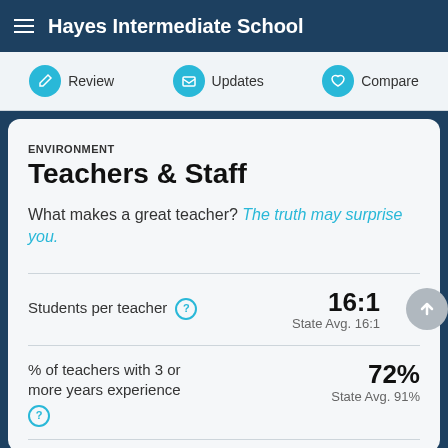Hayes Intermediate School
ENVIRONMENT
Teachers & Staff
What makes a great teacher? The truth may surprise you.
Students per teacher  16:1  State Avg. 16:1
% of teachers with 3 or more years experience  72%  State Avg. 91%